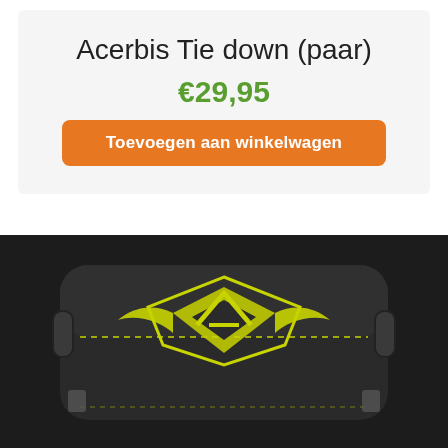Acerbis Tie down (paar)
€29,95
Toevoegen aan winkelwagen
AANBIEDING!
[Figure (photo): Acerbis branded black bag/case with yellow Acerbis logo on top, viewed from above at an angle]